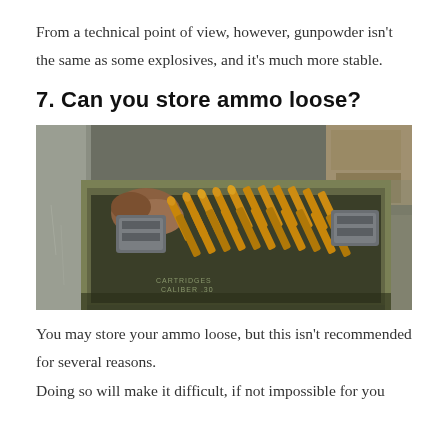From a technical point of view, however, gunpowder isn't the same as some explosives, and it's much more stable.
7. Can you store ammo loose?
[Figure (photo): An open olive-drab military ammunition can containing loose rifle cartridges (copper-jacketed bullets) and two gray metal stripper clips. Another ammo can is visible in the background. The can has stenciled text partially visible reading 'CARTRIDGES CALIBER .30'.]
You may store your ammo loose, but this isn't recommended for several reasons.
Doing so will make it difficult, if not impossible for you